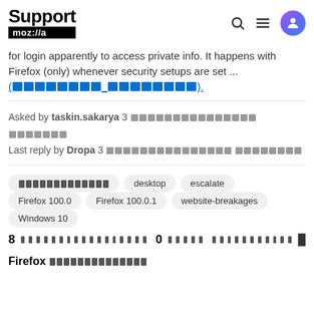Support mozilla// [search] [menu] [user icon]
for login apparently to access private info. It happens with Firefox (only) whenever security setups are set ... (████████_████████).
Asked by taskin.sakarya 3 ██████████████ ███████
Last reply by Dropa 3 ████████████████ ████████
██████████████
desktop
escalate
Firefox 100.0
Firefox 100.0.1
website-breakages
Windows 10
8 ████████████████████ 0 █████ ████████████ █
Firefox ██████████████████████